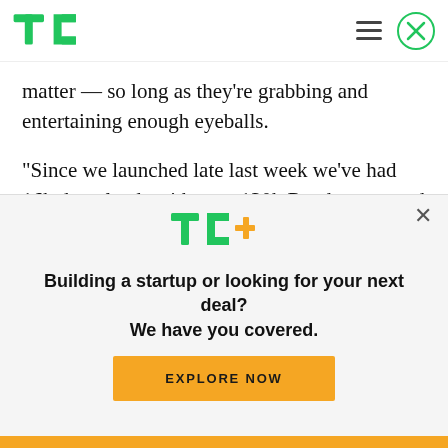TechCrunch header with TC logo, hamburger menu, and close button
matter — so long as they're grabbing and entertaining enough eyeballs.
“Since we launched late last week we've had 16k downloads with over 130k Randos sent and received,” says Mills. “Our main mission now is to get Rando in the hands of as many users as possible.”
[Figure (logo): TC+ logo in green and yellow]
Building a startup or looking for your next deal? We have you covered.
EXPLORE NOW